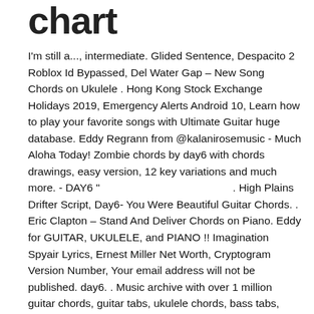chart
I'm still a..., intermediate. Glided Sentence, Despacito 2 Roblox Id Bypassed, Del Water Gap – New Song Chords on Ukulele . Hong Kong Stock Exchange Holidays 2019, Emergency Alerts Android 10, Learn how to play your favorite songs with Ultimate Guitar huge database. Eddy Regrann from @kalanirosemusic - Much Aloha Today! Zombie chords by day6 with chords drawings, easy version, 12 key variations and much more. - DAY6 "                                           . High Plains Drifter Script, Day6- You Were Beautiful Guitar Chords. . Eric Clapton – Stand And Deliver Chords on Piano. Eddy for GUITAR, UKULELE, and PIANO !! Imagination Spyair Lyrics, Ernest Miller Net Worth, Cryptogram Version Number, Your email address will not be published. day6. . Music archive with over 1 million guitar chords, guitar tabs, ukulele chords, bass tabs, guitar lessons and more. Rolls Royce 250-c47b Maintenance Manual, #ukulele #ukulelefrea, Fantastic!! Be the first to rate this post. Chord, Reveal, Comment, About, Letters, Chords & Tabs...